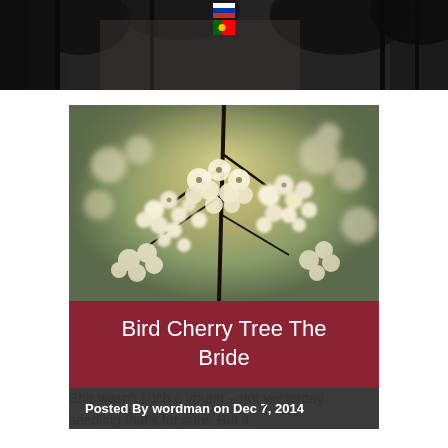[Figure (photo): Dark forest/trees banner photo at top of page with two flag icons (Russian and Portuguese) overlaid in the center]
[Figure (photo): Close-up photo of white bird cherry tree blossoms with blurred background, warm golden light]
Bird Cherry Tree The Bride
Posted By wordman on Dec 7, 2014
She wasn't such a young – not yesterday seedling that's for sure. But it